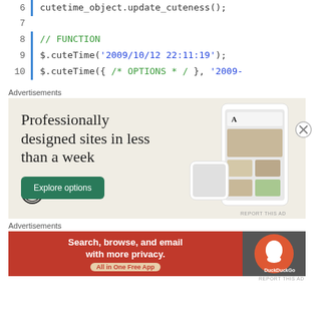cutetime_object.update_cuteness();
// FUNCTION
$.cuteTime('2009/10/12 22:11:19');
$.cuteTime({ /* OPTIONS * / }, '2009-
Advertisements
[Figure (screenshot): WordPress advertisement: 'Professionally designed sites in less than a week' with Explore options button and website screenshots on beige background]
Advertisements
[Figure (screenshot): DuckDuckGo advertisement: 'Search, browse, and email with more privacy. All in One Free App' on red background with DuckDuckGo logo]